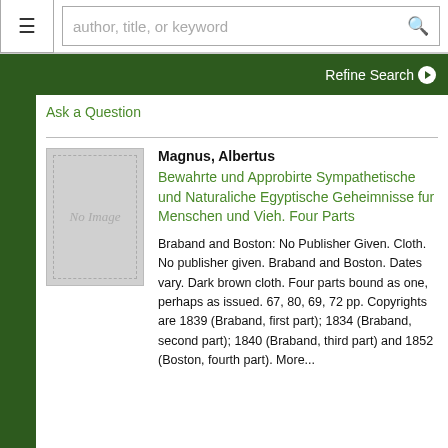author, title, or keyword
Refine Search
Ask a Question
Magnus, Albertus
Bewahrte und Approbirte Sympathetische und Naturaliche Egyptische Geheimnisse fur Menschen und Vieh. Four Parts
Braband and Boston: No Publisher Given. Cloth. No publisher given. Braband and Boston. Dates vary. Dark brown cloth. Four parts bound as one, perhaps as issued. 67, 80, 69, 72 pp. Copyrights are 1839 (Braband, first part); 1834 (Braband, second part); 1840 (Braband, third part) and 1852 (Boston, fourth part). More...
[Figure (other): No Image placeholder for book cover]